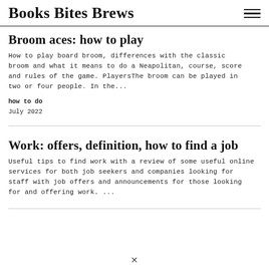Books Bites Brews
Broom aces: how to play
How to play board broom, differences with the classic broom and what it means to do a Neapolitan, course, score and rules of the game. PlayersThe broom can be played in two or four people. In the...
how to do
July 2022
Work: offers, definition, how to find a job
Useful tips to find work with a review of some useful online services for both job seekers and companies looking for staff with job offers and announcements for those looking for and offering work. ...